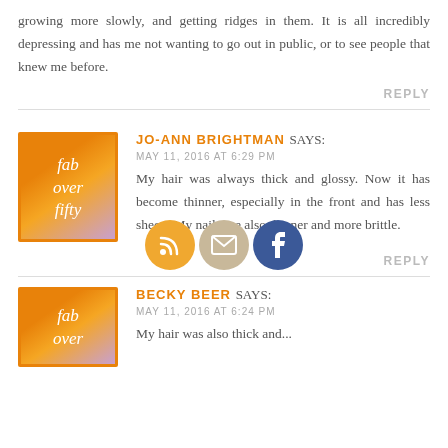growing more slowly, and getting ridges in them. It is all incredibly depressing and has me not wanting to go out in public, or to see people that knew me before.
REPLY
[Figure (illustration): Three circular social media icons: RSS (orange), email (tan/beige), Facebook (dark blue) arranged horizontally]
JO-ANN BRIGHTMAN says:
MAY 11, 2016 AT 6:29 PM
[Figure (logo): Fab over fifty logo - orange and purple gradient square with white italic text reading 'fab over fifty']
My hair was always thick and glossy. Now it has become thinner, especially in the front and has less sheen. My nails are also thinner and more brittle.
REPLY
BECKY BEER says:
MAY 11, 2016 AT 6:24 PM
[Figure (logo): Fab over fifty logo - orange and purple gradient square with white italic text reading 'fab over']